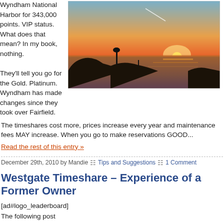Wyndham National Harbor for 343,000 points. VIP status. What does that mean? In my book, nothing.
[Figure (photo): Sunset over the ocean with a rocky coastline silhouetted against an orange and red sky]
They'll tell you go for the Gold. Platinum. Wyndham has made changes since they took over Fairfield. The timeshares cost more, prices increase every year and maintenance fees MAY increase. When you go to make reservations GOOD...
Read the rest of this entry »
December 29th, 2010 by Mandie   Tips and Suggestions   1 Comment
Westgate Timeshare – Experience of a Former Owner
[ad#logo_leaderboard]
The following post